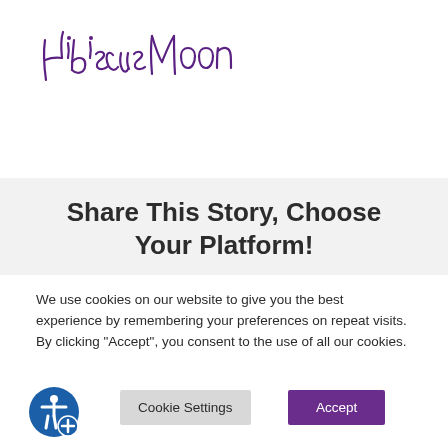[Figure (logo): Hibiscus Moon handwritten script logo in purple ink]
Share This Story, Choose Your Platform!
We use cookies on our website to give you the best experience by remembering your preferences on repeat visits. By clicking "Accept", you consent to the use of all our cookies.
[Figure (other): Cookie Settings button and Accept button, plus accessibility icon (blue wheelchair symbol with plus sign)]